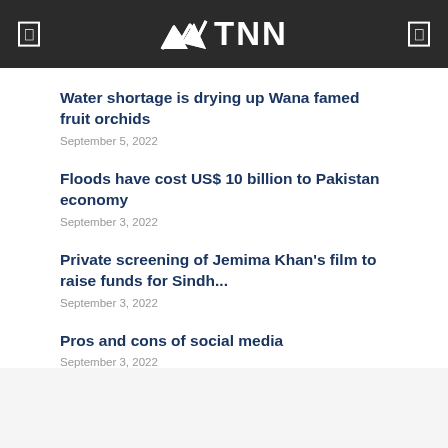TNN
Water shortage is drying up Wana famed fruit orchids
September 5, 2022
Floods have cost US$ 10 billion to Pakistan economy
September 3, 2022
Private screening of Jemima Khan's film to raise funds for Sindh...
September 3, 2022
Pros and cons of social media
September 3, 2022